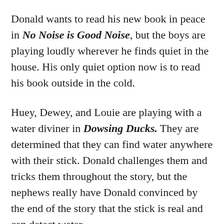Donald wants to read his new book in peace in No Noise is Good Noise, but the boys are playing loudly wherever he finds quiet in the house. His only quiet option now is to read his book outside in the cold.
Huey, Dewey, and Louie are playing with a water diviner in Dowsing Ducks. They are determined that they can find water anywhere with their stick. Donald challenges them and tricks them throughout the story, but the nephews really have Donald convinced by the end of the story that the stick is real and can detect water.